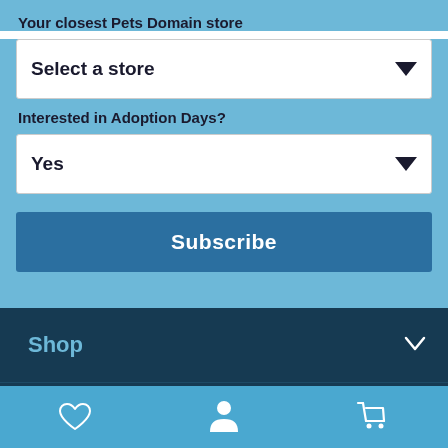Your closest Pets Domain store
Select a store
Interested in Adoption Days?
Yes
Subscribe
Shop
Help
[Figure (screenshot): Footer icon bar with heart, person, and shopping cart icons]